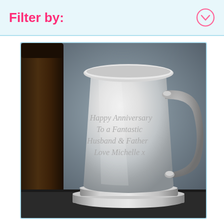Filter by:
[Figure (photo): A polished silver pewter beer tankard/mug engraved with the text 'Happy Anniversary To a Fantastic Husband & Father Love Michelle x', placed on a dark surface next to a dark brown bottle. The tankard has an ornate handle on the right side.]